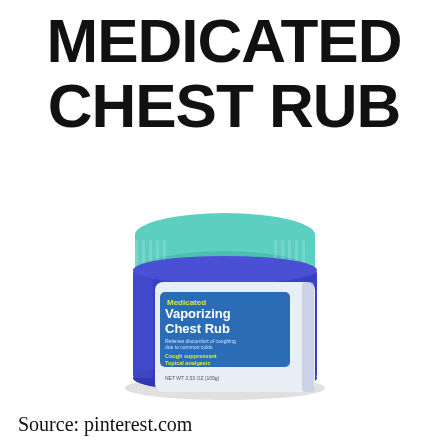MEDICATED CHEST RUB
[Figure (photo): A blue jar with a teal/mint green lid containing Medicated Vaporizing Chest Rub. The label on the jar reads: Medicated Vaporizing Chest Rub, Cough suppressant, Topical analgesic, Net Wt 3.53 OZ (100g).]
Source: pinterest.com